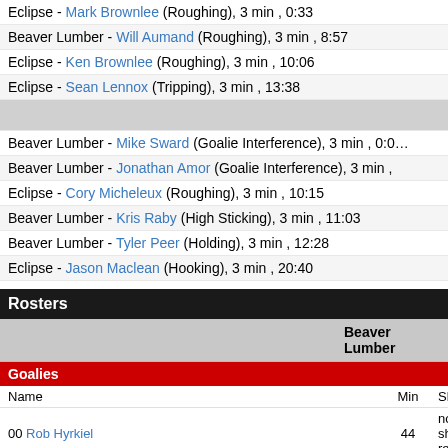Eclipse - Mark Brownlee (Roughing), 3 min , 0:33
Beaver Lumber - Will Aumand (Roughing), 3 min , 8:57
Eclipse - Ken Brownlee (Roughing), 3 min , 10:06
Eclipse - Sean Lennox (Tripping), 3 min , 13:38
Beaver Lumber - Mike Sward (Goalie Interference), 3 min , 0:0...
Beaver Lumber - Jonathan Amor (Goalie Interference), 3 min , ...
Eclipse - Cory Micheleux (Roughing), 3 min , 10:15
Beaver Lumber - Kris Raby (High Sticking), 3 min , 11:03
Beaver Lumber - Tyler Peer (Holding), 3 min , 12:28
Eclipse - Jason Maclean (Hooking), 3 min , 20:40
Rosters
|  | Beaver Lumber |
| --- | --- |
Goalies
| Name | Min | Shots |
| --- | --- | --- |
| 00 Rob Hyrkiel | 44 | no shots re... |
Players
| # | Name | G | A |
| --- | --- | --- | --- |
| 3 | Will Maloley | 0 | 0 |
| 11 | Jonathan Amor | 0 | 0 |
| 12 | Kris Raby | 0 | 0 |
| 14 | Will Aumand | 0 | 0 |
| 19 | Andrew Nicholson | 0 | 0 |
| 41 | Mike Sward | 0 | 0 |